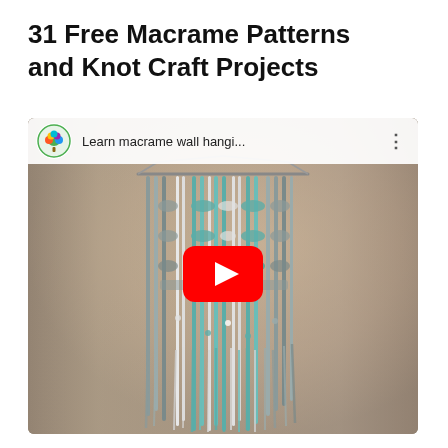31 Free Macrame Patterns and Knot Craft Projects
[Figure (screenshot): YouTube video thumbnail showing a macrame wall hanging in teal, grey, and white colors with fringe and knot patterns. The video title bar reads 'Learn macrame wall hangi...' with a YouTube channel logo on the left and three-dot menu on the right. A red YouTube play button is centered over the image.]